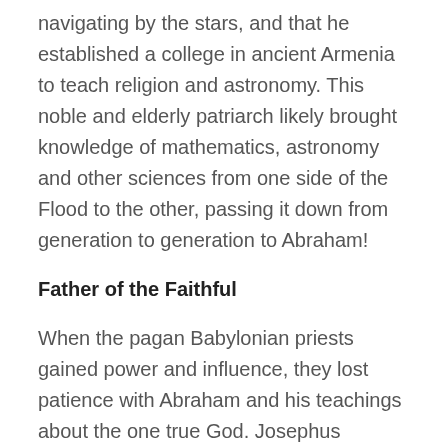navigating by the stars, and that he established a college in ancient Armenia to teach religion and astronomy. This noble and elderly patriarch likely brought knowledge of mathematics, astronomy and other sciences from one side of the Flood to the other, passing it down from generation to generation to Abraham!
Father of the Faithful
When the pagan Babylonian priests gained power and influence, they lost patience with Abraham and his teachings about the one true God. Josephus records that the Chaldeans and other peoples of Mesopotamia “raised a tumult” against